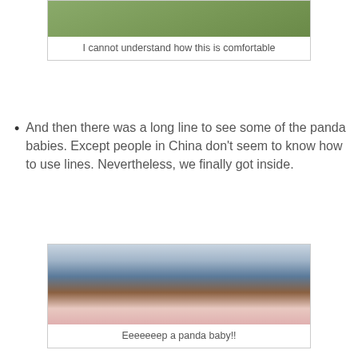[Figure (photo): Top portion of a photo showing outdoor scene with panda in tree or wooden structure, cropped at top]
I cannot understand how this is comfortable
And then there was a long line to see some of the panda babies. Except people in China don't seem to know how to use lines. Nevertheless, we finally got inside.
[Figure (photo): A baby panda in an incubator/medical box with pink bedding, a caretaker in blue uniform visible in the background through glass]
Eeeeeeep a panda baby!!